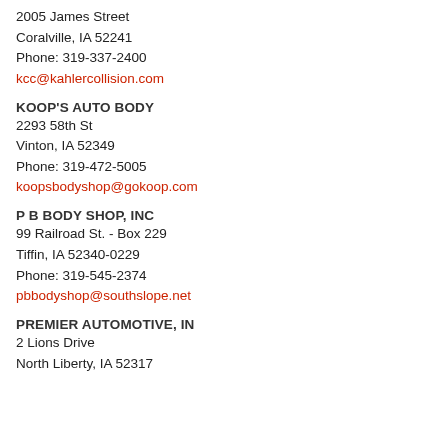2005 James Street
Coralville, IA 52241
Phone: 319-337-2400
kcc@kahlercollision.com
KOOP'S AUTO BODY
2293 58th St
Vinton, IA 52349
Phone: 319-472-5005
koopsbodyshop@gokoop.com
P B BODY SHOP, INC
99 Railroad St. - Box 229
Tiffin, IA 52340-0229
Phone: 319-545-2374
pbbodyshop@southslope.net
PREMIER AUTOMOTIVE, IN
2 Lions Drive
North Liberty, IA 52317